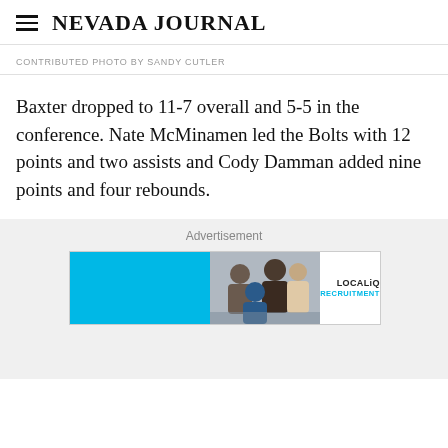Nevada Journal
CONTRIBUTED PHOTO BY SANDY CUTLER
Baxter dropped to 11-7 overall and 5-5 in the conference. Nate McMinamen led the Bolts with 12 points and two assists and Cody Damman added nine points and four rebounds.
Advertisement
[Figure (other): LOCALiQ Recruitment advertisement banner with blue panel, photo of people collaborating, and LOCALiQ RECRUITMENT logo on white background]